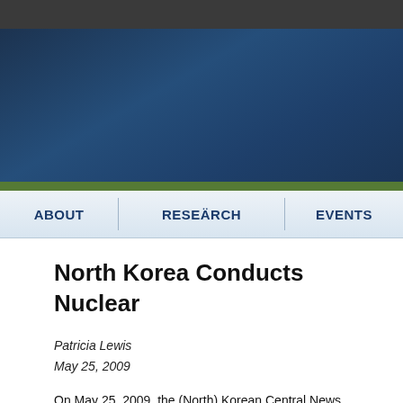[Figure (other): Website header banner with dark blue gradient background]
ABOUT  RESEARCH  EVENTS
North Korea Conducts Nuclear
Patricia Lewis
May 25, 2009
On May 25, 2009, the (North) Korean Central News Agency (KC